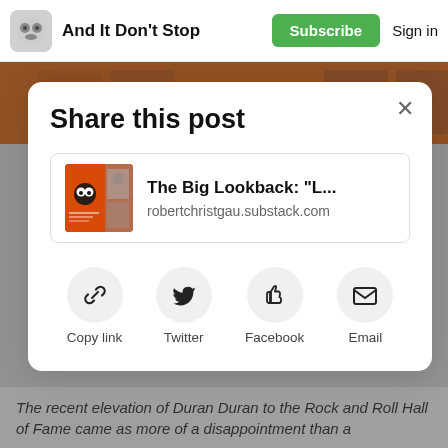And It Don't Stop  Subscribe  Sign in
Share this post
The Big Lookback: "L...
robertchristgau.substack.com
Copy link  Twitter  Facebook  Email
The recent elevation of Duran Duran to the Rock and Roll Hall of Fame came as more of a disappointment than a